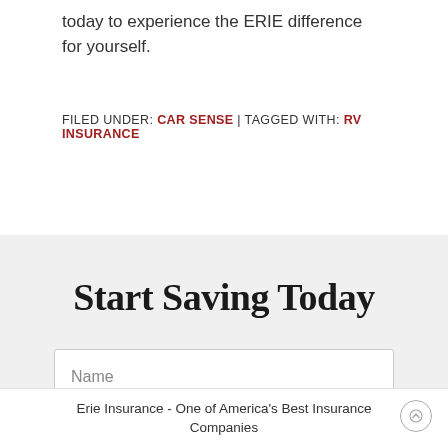today to experience the ERIE difference for yourself.
FILED UNDER: CAR SENSE | TAGGED WITH: RV INSURANCE
Start Saving Today
Name
Erie Insurance - One of America's Best Insurance Companies
Email